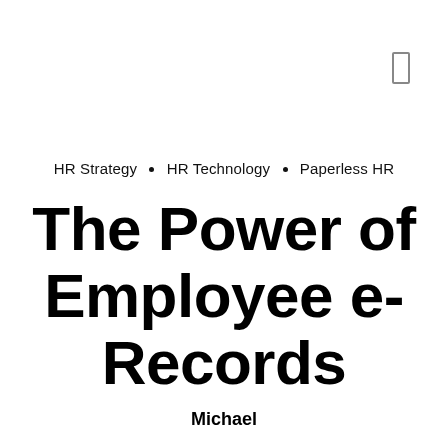HR Strategy · HR Technology · Paperless HR
The Power of Employee e-Records
Michael